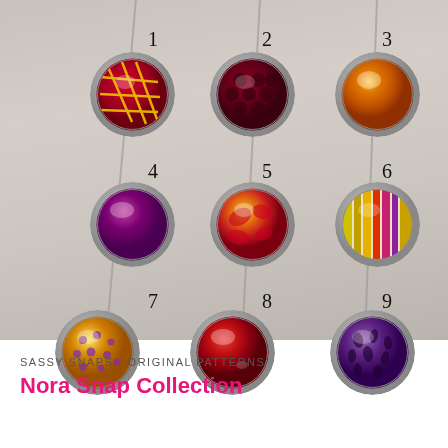[Figure (photo): Nine decorative snap buttons arranged in a 3x3 grid on a wood plank background. Each snap is numbered 1-9. Snap 1: red with gold grid pattern. Snap 2: dark red honeycomb. Snap 3: metallic orange. Snap 4: solid deep purple/magenta. Snap 5: red and gold floral. Snap 6: multicolor stripes (yellow, red, purple). Snap 7: yellow/gold with purple dots. Snap 8: deep red/crimson. Snap 9: purple with dark speckled pattern.]
SASSY SNAPS - ORIGINAL PATTERNS
Nora Snap Collection